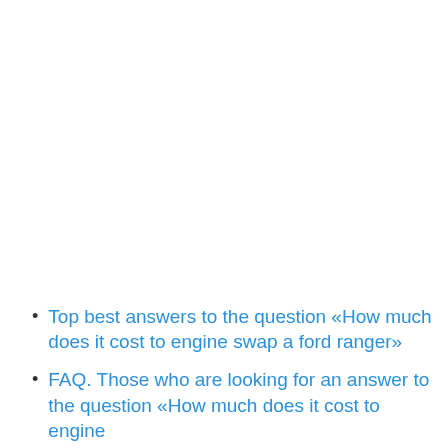Top best answers to the question «How much does it cost to engine swap a ford ranger»
FAQ. Those who are looking for an answer to the question «How much does it cost to engine